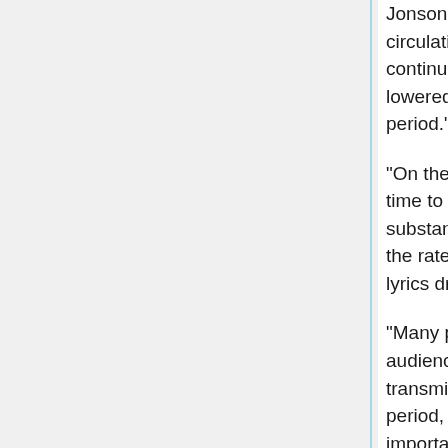Jonson's return to the system of coterie manuscript circulation for his lyric verse is a sign both of the continuing strength of that system and of the lowered prestige of lyric verse in the Jacobean period." (245)
"On the whole, the Jacobean era was not a good time to publish secular lyric poetry. No new substantial anthology appeared in this period and the rate of publication of single-author editions of lyrics dropped considerably" (246)
"Many poets restricted their lyric writing to coterie audiences and to the system of manuscript transmission, especially since in the Jacobean period, secular lyric poetry declined somewhat in importance, partly due to King James II...